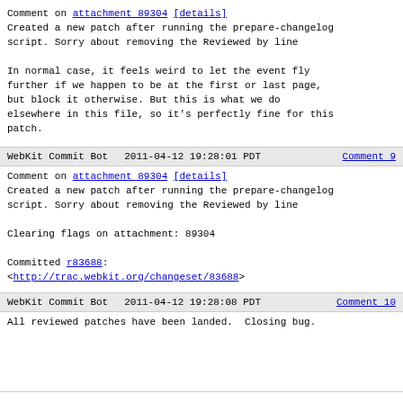Comment on attachment 89304 [details]
Created a new patch after running the prepare-changelog
script. Sorry about removing the Reviewed by line

In normal case, it feels weird to let the event fly
further if we happen to be at the first or last page,
but block it otherwise. But this is what we do
elsewhere in this file, so it's perfectly fine for this
patch.
WebKit Commit Bot   2011-04-12 19:28:01 PDT   Comment 9
Comment on attachment 89304 [details]
Created a new patch after running the prepare-changelog
script. Sorry about removing the Reviewed by line

Clearing flags on attachment: 89304

Committed r83688:
<http://trac.webkit.org/changeset/83688>
WebKit Commit Bot   2011-04-12 19:28:08 PDT   Comment 10
All reviewed patches have been landed.  Closing bug.